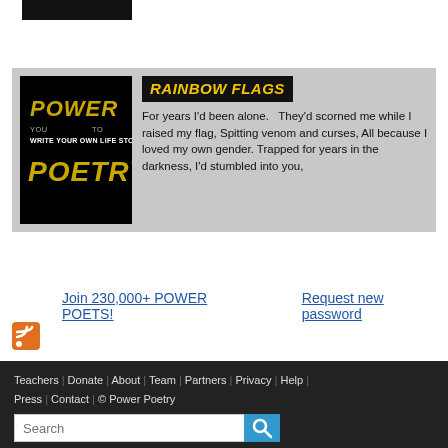[Figure (logo): Black rectangular logo bar at top]
[Figure (illustration): Power Poetry book cover — black background with stylized text: POWER TO WRITE YOUR OWN LIFE STORY POETRY]
RAINBOW FLAGS
For years I'd been alone.   They'd scorned me while I raised my flag, Spitting venom and curses, All because I loved my own gender. Trapped for years in the darkness, I'd stumbled into you,
Join 230,000+ POWER POETS!
Request new password
[Figure (other): RSS feed icon (orange square with white radio wave symbol)]
Teachers | Donate | About | Team | Partners | Privacy | Help | Press | Contact | © Power Poetry